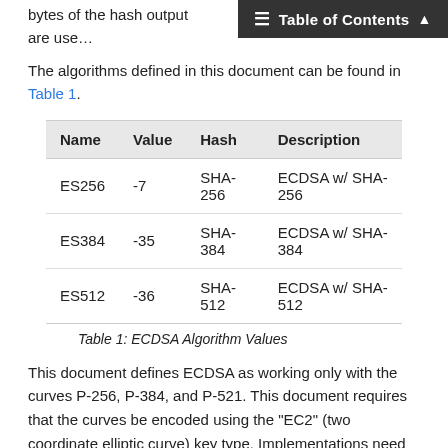bytes of the hash output are use…
Table of Contents
The algorithms defined in this document can be found in Table 1.
| Name | Value | Hash | Description |
| --- | --- | --- | --- |
| ES256 | -7 | SHA-256 | ECDSA w/ SHA-256 |
| ES384 | -35 | SHA-384 | ECDSA w/ SHA-384 |
| ES512 | -36 | SHA-512 | ECDSA w/ SHA-512 |
Table 1: ECDSA Algorithm Values
This document defines ECDSA as working only with the curves P-256, P-384, and P-521. This document requires that the curves be encoded using the "EC2" (two coordinate elliptic curve) key type. Implementations need to check that the key type and curve are correct when creating and verifying a signature. Future documents may define it to work with other curves and points in the future.
Interoperability point: it is recommended that…